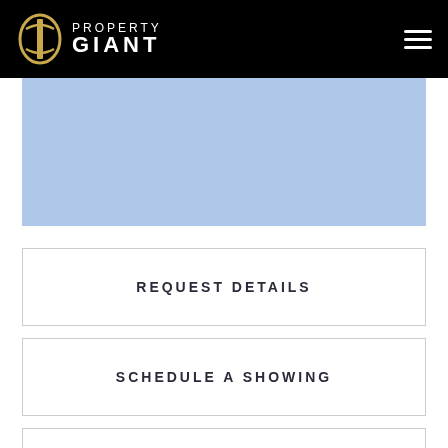PROPERTY GIANT
[Figure (photo): Light blue placeholder image for a property listing]
REQUEST DETAILS
SCHEDULE A SHOWING